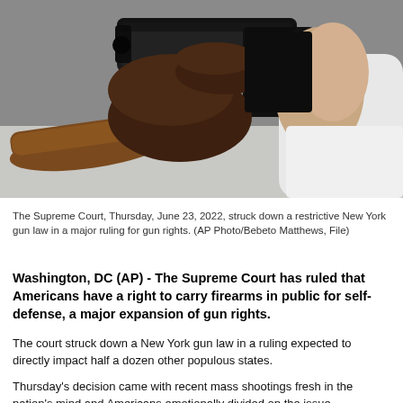[Figure (photo): Close-up photograph of hands holding a black semi-automatic pistol. A wooden-stocked rifle is visible in the background on a table.]
The Supreme Court, Thursday, June 23, 2022, struck down a restrictive New York gun law in a major ruling for gun rights. (AP Photo/Bebeto Matthews, File)
Washington, DC (AP) - The Supreme Court has ruled that Americans have a right to carry firearms in public for self-defense, a major expansion of gun rights.
The court struck down a New York gun law in a ruling expected to directly impact half a dozen other populous states.
Thursday's decision came with recent mass shootings fresh in the nation's mind and Americans emotionally divided on the issue.